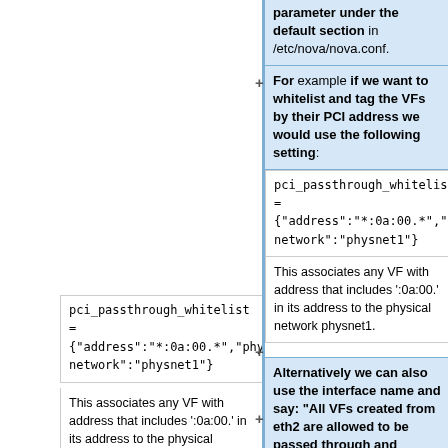parameter under the default section in /etc/nova/nova.conf.
For example if we want to whitelist and tag the VFs by their PCI address we would use the following setting:
pci_passthrough_whitelist = {"address":"*:0a:00.*","physical_network":"physnet1"}
pci_passthrough_whitelist = {"address":"*:0a:00.*","physical_network":"physnet1"}
This associates any VF with address that includes ':0a:00.' in its address to the physical network physnet1.
This associates any VF with address that includes ':0a:00.' in its address to the physical network physnet1.
Alternatively we can also use the interface name and say: "All VFs created from eth2 are allowed to be passed through and belong to physical network physnet1"
in this case eth2 is the PF. For